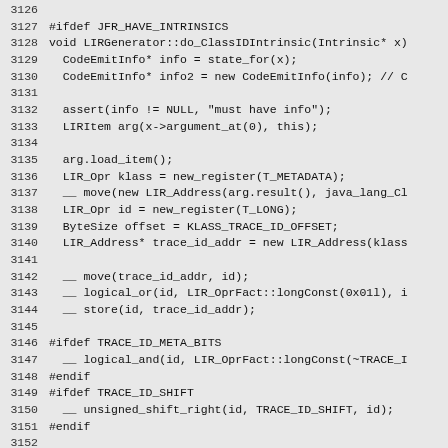3126
3127 #ifdef JFR_HAVE_INTRINSICS
3128 void LIRGenerator::do_ClassIDIntrinsic(Intrinsic* x)
3129   CodeEmitInfo* info = state_for(x);
3130   CodeEmitInfo* info2 = new CodeEmitInfo(info); // C
3131
3132   assert(info != NULL, "must have info");
3133   LIRItem arg(x->argument_at(0), this);
3134
3135   arg.load_item();
3136   LIR_Opr klass = new_register(T_METADATA);
3137   __ move(new LIR_Address(arg.result(), java_lang_Cl
3138   LIR_Opr id = new_register(T_LONG);
3139   ByteSize offset = KLASS_TRACE_ID_OFFSET;
3140   LIR_Address* trace_id_addr = new LIR_Address(klass
3141
3142   __ move(trace_id_addr, id);
3143   __ logical_or(id, LIR_OprFact::longConst(0x01l), i
3144   __ store(id, trace_id_addr);
3145
3146 #ifdef TRACE_ID_META_BITS
3147   __ logical_and(id, LIR_OprFact::longConst(~TRACE_I
3148 #endif
3149 #ifdef TRACE_ID_SHIFT
3150   __ unsigned_shift_right(id, TRACE_ID_SHIFT, id);
3151 #endif
3152
3153   __ move(id, rlock_result(x));
3154 }
3155
3156 void LIRGenerator::do_getEventWriter(Intrinsic* x)